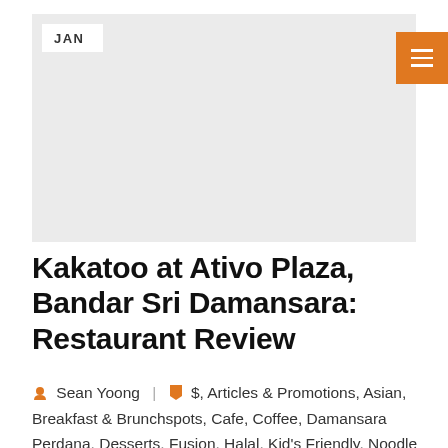[Figure (photo): Large header image area (light gray placeholder) with JAN badge in top left and orange hamburger menu button in top right]
Kakatoo at Ativo Plaza, Bandar Sri Damansara: Restaurant Review
Sean Yoong  |   $, Articles & Promotions, Asian, Breakfast & Brunchspots, Cafe, Coffee, Damansara Perdana, Desserts, Fusion, Halal, Kid's Friendly, Noodle Shop, Nyonya, Outdoor Seating, Pasta,